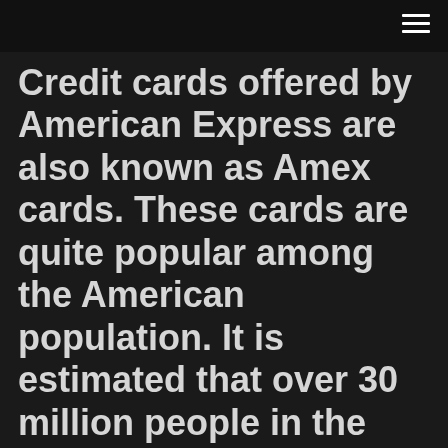Credit cards offered by American Express are also known as Amex cards. These cards are quite popular among the American population. It is estimated that over 30 million people in the United States are actually American Express cardholders. This number is quite explanatory due to the large number of rewards and bonuses that cardholders can [...]